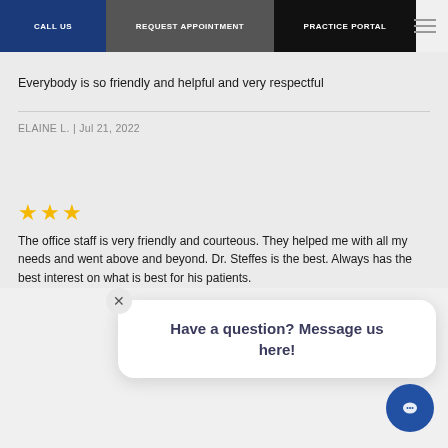CALL US | REQUEST APPOINTMENT | PRACTICE PORTAL
Everybody is so friendly and helpful and very respectful
ELAINE L. | Jul 21, 2022
Have a question? Message us here!
The office staff is very friendly and courteous. They helped me with all my needs and went above and beyond. Dr. Steffes is the best. Always has the best interest on what is best for his patients.